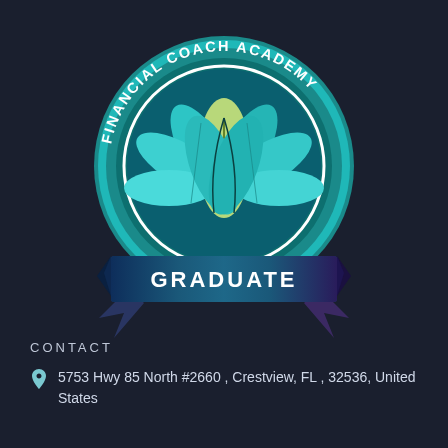[Figure (logo): Financial Coach Academy Graduate badge/logo — circular teal badge with 'FINANCIAL COACH ACADEMY' text around the top arc and a stylized lotus/leaf design in teal and green in the center. A dark teal/navy ribbon banner across the bottom reads 'GRADUATE' in white letters. Small decorative ribbon tails extend from the sides.]
CONTACT
5753 Hwy 85 North #2660 , Crestview, FL , 32536, United States